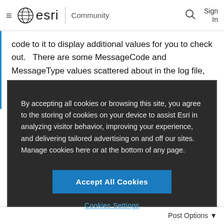≡ esri | Community  🔍  Sign In
code to it to display additional values for you to check out.   There are some MessageCode and MessageType values scattered about in the log file, its possible those values may be useful while investigating the python script.
By accepting all cookies or browsing this site, you agree to the storing of cookies on your device to assist Esri in analyzing visitor behavior, improving your experience, and delivering tailored advertising on and off our sites. Manage cookies here or at the bottom of any page.
Accept All Cookies
Cookies Settings
Post Options ▼